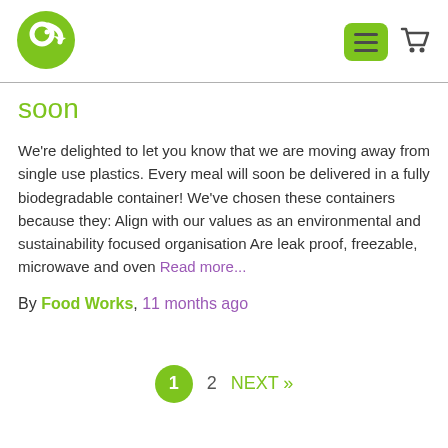[Figure (logo): Green circular recycling/bird logo for Food Works]
[Figure (other): Navigation icons: green hamburger menu button and shopping cart icon]
soon
We're delighted to let you know that we are moving away from single use plastics. Every meal will soon be delivered in a fully biodegradable container! We've chosen these containers because they: Align with our values as an environmental and sustainability focused organisation Are leak proof, freezable, microwave and oven Read more...
By Food Works, 11 months ago